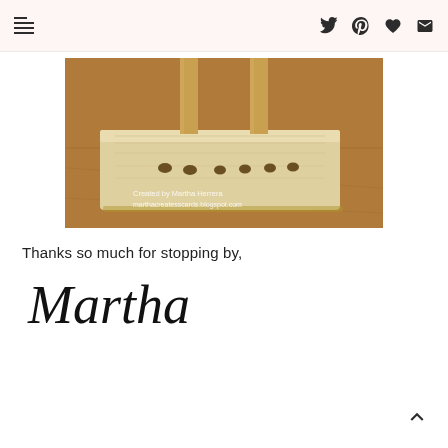Navigation and social icons header
[Figure (photo): Close-up photo of a wooden craft stand base with holes, showing two wooden dowels inserted. Watermark text reads: Created by Martha Herrera, marthacreatesscards.blogspot.com]
Thanks so much for stopping by,
Martha
Back to top arrow